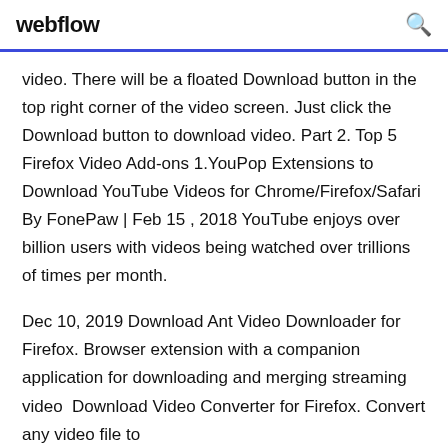webflow
video. There will be a floated Download button in the top right corner of the video screen. Just click the Download button to download video. Part 2. Top 5 Firefox Video Add-ons 1.YouPop Extensions to Download YouTube Videos for Chrome/Firefox/Safari By FonePaw | Feb 15 , 2018 YouTube enjoys over billion users with videos being watched over trillions of times per month.
Dec 10, 2019 Download Ant Video Downloader for Firefox. Browser extension with a companion application for downloading and merging streaming video  Download Video Converter for Firefox. Convert any video file to